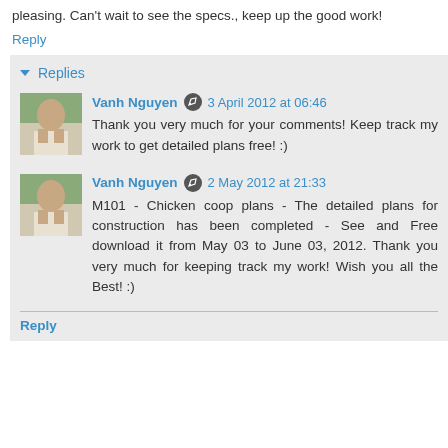pleasing. Can't wait to see the specs., keep up the good work!
Reply
Replies
Vanh Nguyen · 3 April 2012 at 06:46
Thank you very much for your comments! Keep track my work to get detailed plans free! :)
Vanh Nguyen · 2 May 2012 at 21:33
M101 - Chicken coop plans - The detailed plans for construction has been completed - See and Free download it from May 03 to June 03, 2012. Thank you very much for keeping track my work! Wish you all the Best! :)
Reply